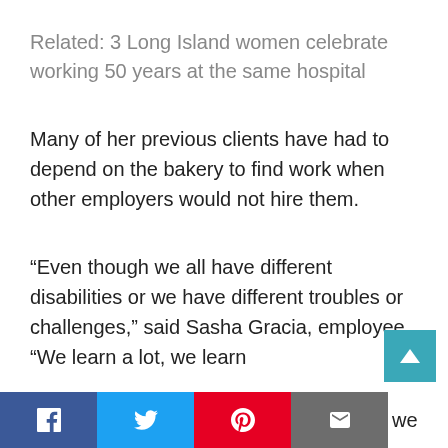Related: 3 Long Island women celebrate working 50 years at the same hospital
Many of her previous clients have had to depend on the bakery to find work when other employers would not hire them.
“Even though we all have different disabilities or we have different troubles or challenges,” said Sasha Gracia, employee. “We learn a lot, we learn we